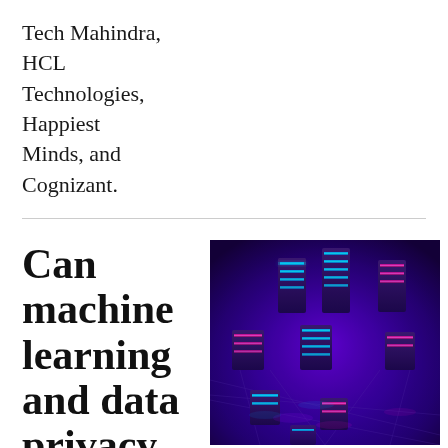Tech Mahindra, HCL Technologies, Happiest Minds, and Cognizant.
Can machine learning and data privacy coexist?
[Figure (photo): 3D render of glowing neon cubes/blocks arranged on a purple-blue illuminated grid surface, with cyan and pink/magenta light strips on dark geometric shapes against a deep purple background.]